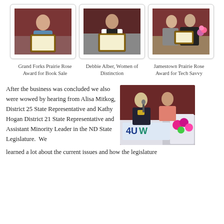[Figure (photo): Woman holding a framed award certificate, standing in front of a dark red wall]
[Figure (photo): Woman in white jacket and striped top holding a framed award certificate]
[Figure (photo): Two women standing together, one holding a framed award certificate, flowers visible in background]
Grand Forks Prairie Rose Award for Book Sale
Debbie Alber, Women of Distinction
Jamestown Prairie Rose Award for Tech Savvy
After the business was concluded we also were wowed by hearing from Alisa Mitkog, District 25 State Representative and Kathy Hogan District 21 State Representative and Assistant Minority Leader in the ND State Legislature.  We learned a lot about the current issues and how the legislature
[Figure (photo): Two women standing at a podium with AAUW logo, one speaking into a microphone, colorful artwork visible]